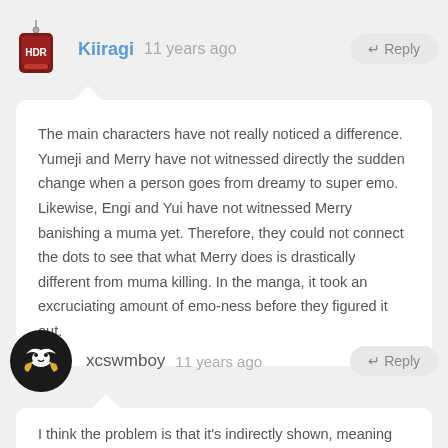Kiiragi  11 years ago  ← Reply
The main characters have not really noticed a difference. Yumeji and Merry have not witnessed directly the sudden change when a person goes from dreamy to super emo. Likewise, Engi and Yui have not witnessed Merry banishing a muma yet. Therefore, they could not connect the dots to see that what Merry does is drastically different from muma killing. In the manga, it took an excruciating amount of emo-ness before they figured it out.
xcswmboy  11 years ago  ← Reply